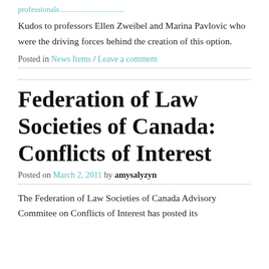professionals ...
Kudos to professors Ellen Zweibel and Marina Pavlovic who were the driving forces behind the creation of this option.
Posted in News Items / Leave a comment
Federation of Law Societies of Canada: Conflicts of Interest
Posted on March 2, 2011 by amysalyzyn
The Federation of Law Societies of Canada Advisory Commitee on Conflicts of Interest has posted its